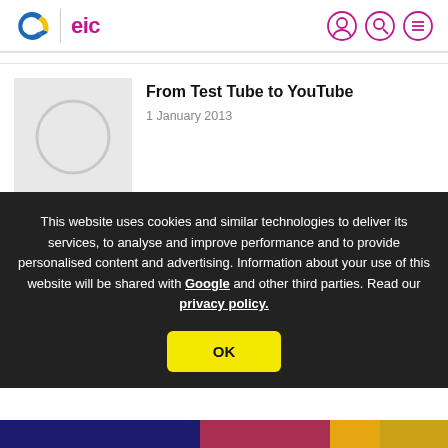eic
From Test Tube to YouTube
1 January 2013
This website uses cookies and similar technologies to deliver its services, to analyse and improve performance and to provide personalised content and advertising. Information about your use of this website will be shared with Google and other third parties. Read our privacy policy.